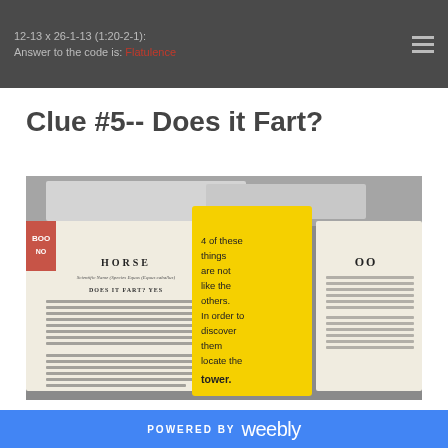12-13 x 26-1-13 (1:20-2-1): Answer to the code is: Flatulence
Clue #5-- Does it Fart?
[Figure (photo): Photo of an open book showing a page about HORSE with text about flatulence/farting, overlaid by a yellow bookmark card reading '4 of these things are not like the others. In order to discover them locate the tower.' Background shows papers and another book page with 'OO' visible.]
POWERED BY weebly